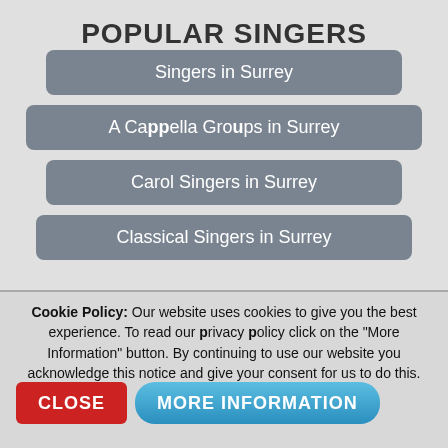POPULAR SINGERS
Singers in Surrey
A Cappella Groups in Surrey
Carol Singers in Surrey
Classical Singers in Surrey
Cookie Policy: Our website uses cookies to give you the best experience. To read our privacy policy click on the "More Information" button. By continuing to use our website you acknowledge this notice and give your consent for us to do this.
CLOSE
MORE INFORMATION